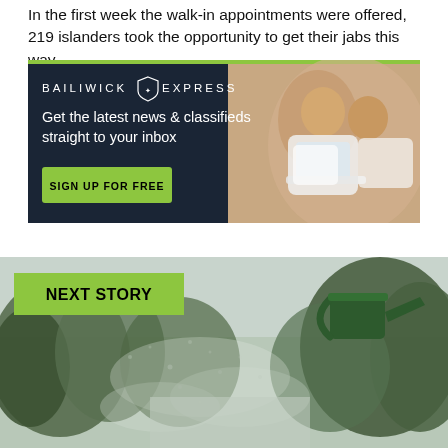In the first week the walk-in appointments were offered, 219 islanders took the opportunity to get their jabs this way.
[Figure (infographic): Bailiwick Express advertisement banner with dark navy background, green top border, logo 'BAILIWICK EXPRESS' with shield emblem, tagline 'Get the latest news & classifieds straight to your inbox', green 'SIGN UP FOR FREE' button, and photo of smiling couple looking at laptop on the right side.]
[Figure (photo): Next story image showing an outdoor scene with trees and what appears to be water spraying, with a watering can visible. A green label overlay reads 'NEXT STORY' in bold black text.]